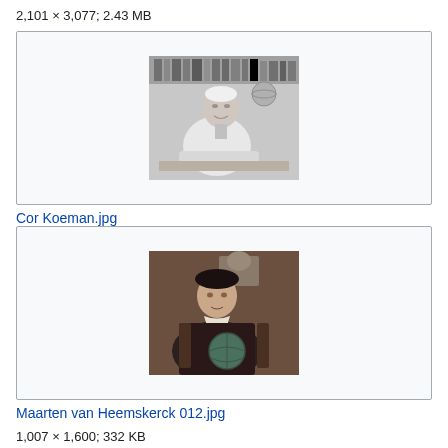2,101 × 3,077; 2.43 MB
[Figure (photo): Black and white photo of Cor Koeman, an older man seated at a desk with bookshelves behind him]
Cor Koeman.jpg
1,396 × 1,848; 104 KB
[Figure (photo): Color painting portrait of Maarten van Heemskerck, a man in dark Renaissance clothing holding a globe]
Maarten van Heemskerck 012.jpg
1,007 × 1,600; 332 KB